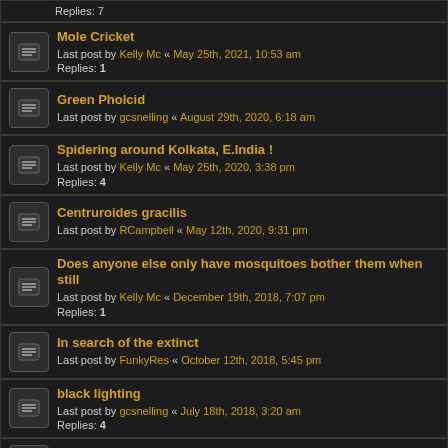Replies: 7
Mole Cricket
Last post by Kelly Mc « May 25th, 2021, 10:53 am
Replies: 1
Green Pholcid
Last post by gcsnelling « August 29th, 2020, 6:18 am
Spidering around Kolkata, E.India !
Last post by Kelly Mc « May 25th, 2020, 3:38 pm
Replies: 4
Centruroides gracilis
Last post by RCampbell « May 12th, 2020, 9:31 pm
Does anyone else only have mosquitoes bother them when still
Last post by Kelly Mc « December 19th, 2018, 7:07 pm
Replies: 1
In search of the extinct
Last post by FunkyRes « October 12th, 2018, 5:45 pm
black lighting
Last post by gcsnelling « July 18th, 2018, 3:20 am
Replies: 4
Introducing
Last post by gcsnelling « July 12th, 2018, 5:05 pm
Chompers
Last post by gcsnelling « June 26th, 2018, 6:05 pm
Somewhat attractive Akansas beetle